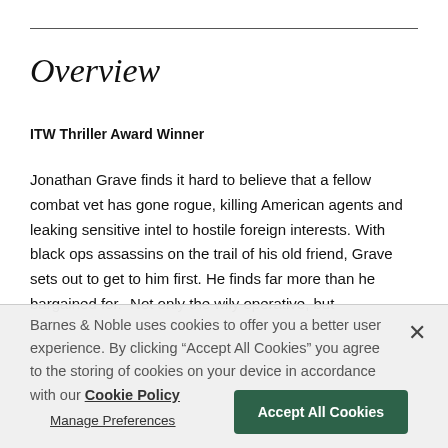Overview
ITW Thriller Award Winner
Jonathan Grave finds it hard to believe that a fellow combat vet has gone rogue, killing American agents and leaking sensitive intel to hostile foreign interests. With black ops assassins on the trail of his old friend, Grave sets out to get to him first. He finds far more than he bargained for.  Not only the wily operative, but
Barnes & Noble uses cookies to offer you a better user experience. By clicking "Accept All Cookies" you agree to the storing of cookies on your device in accordance with our Cookie Policy
Manage Preferences
Accept All Cookies